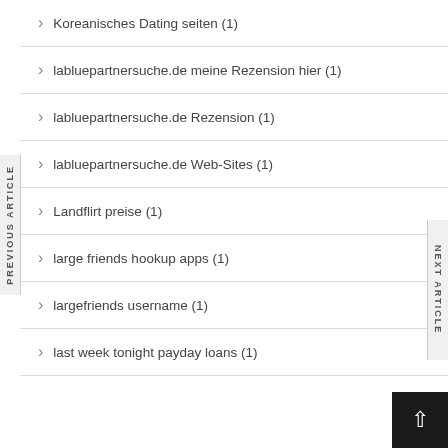Koreanisches Dating seiten (1)
labluepartnersuche.de meine Rezension hier (1)
labluepartnersuche.de Rezension (1)
labluepartnersuche.de Web-Sites (1)
Landflirt preise (1)
large friends hookup apps (1)
largefriends username (1)
last week tonight payday loans (1)